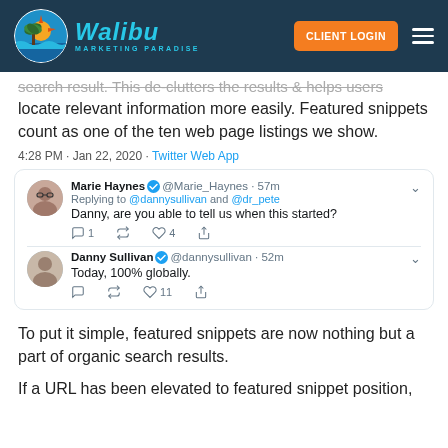Walibu Marketing Paradise — CLIENT LOGIN
search result. This de-clutters the results & helps users locate relevant information more easily. Featured snippets count as one of the ten web page listings we show.
4:28 PM · Jan 22, 2020 · Twitter Web App
[Figure (screenshot): Twitter conversation screenshot: Marie Haynes (@Marie_Haynes, 57m) replying to @dannysullivan and @dr_pete asking 'Danny, are you able to tell us when this started?' with 1 reply, 4 likes. Danny Sullivan (@dannysullivan, 52m) replying 'Today, 100% globally.' with 11 likes.]
To put it simple, featured snippets are now nothing but a part of organic search results.
If a URL has been elevated to featured snippet position,